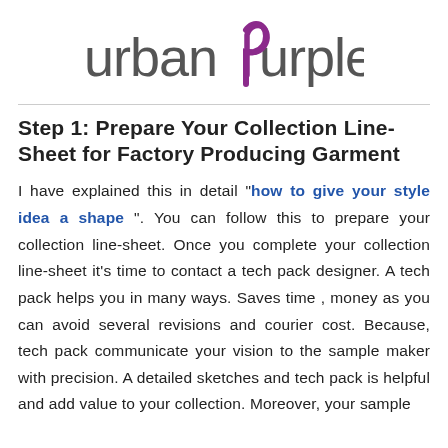[Figure (logo): urbanpurple logo with stylized purple 'p' letterform]
Step 1: Prepare Your Collection Line-Sheet for Factory Producing Garment
I have explained this in detail "how to give your style idea a shape". You can follow this to prepare your collection line-sheet. Once you complete your collection line-sheet it’s time to contact a tech pack designer. A tech pack helps you in many ways. Saves time , money as you can avoid several revisions and courier cost. Because, tech pack communicate your vision to the sample maker with precision. A detailed sketches and tech pack is helpful and add value to your collection. Moreover, your sample